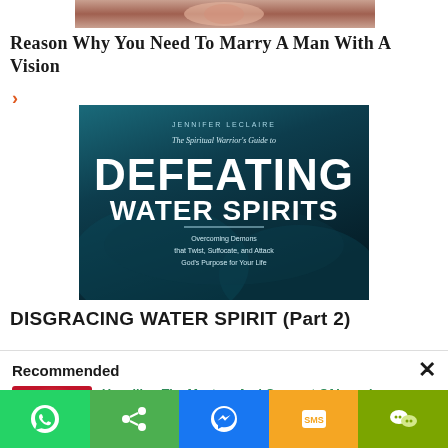[Figure (photo): Partial image of a person at the top of the page]
Reason Why You Need To Marry A Man With A Vision
[Figure (illustration): Book cover: The Spiritual Warrior's Guide to Defeating Water Spirits by Jennifer LeClaire]
DISGRACING WATER SPIRIT (Part 2)
Recommended
[Figure (illustration): Two red heart characters holding an umbrella]
Unveiling The Mystery And Concept Of Love In Relationship — Part One
Unveiling The Mystery And Concept Of Love In